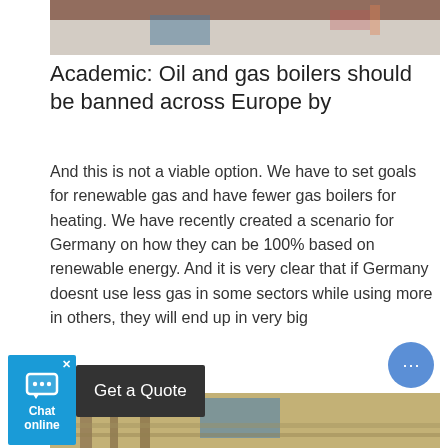[Figure (photo): Top portion of an indoor scene, partially visible, showing what appears to be a countertop or desk with objects.]
Academic: Oil and gas boilers should be banned across Europe by
And this is not a viable option. We have to set goals for renewable gas and have fewer gas boilers for heating. We have recently created a scenario for Germany on how they can be 100% based on renewable energy. And it is very clear that if Germany doesnt use less gas in some sectors while using more in others, they will end up in very big
[Figure (screenshot): Chat online widget with a blue background showing a chat icon and 'Chat online' text, next to a dark 'Get a Quote' button.]
[Figure (photo): Bottom portion of an industrial or warehouse interior showing pipes and structural elements.]